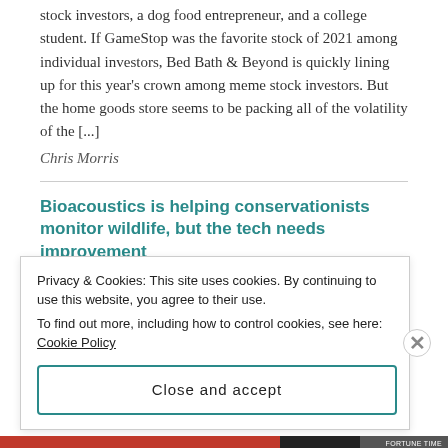stock investors, a dog food entrepreneur, and a college student. If GameStop was the favorite stock of 2021 among individual investors, Bed Bath & Beyond is quickly lining up for this year's crown among meme stock investors. But the home goods store seems to be packing all of the volatility of the [...]
Chris Morris
Bioacoustics is helping conservationists monitor wildlife, but the tech needs improvement
August 18, 2022
The ability of audio recorders to gather large amounts of data can make them more efficient than traditional cameras, trapping and remote tracking methodologies
Privacy & Cookies: This site uses cookies. By continuing to use this website, you agree to their use.
To find out more, including how to control cookies, see here: Cookie Policy
Close and accept